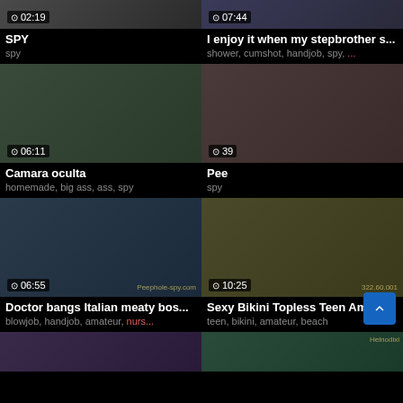[Figure (screenshot): Video thumbnail top-left partial, duration 02:19]
SPY
spy
[Figure (screenshot): Video thumbnail top-right partial, duration 07:44]
I enjoy it when my stepbrother s...
shower, cumshot, handjob, spy, ...
[Figure (screenshot): Video thumbnail - hotel room, duration 06:11]
Camara oculta
homemade, big ass, ass, spy
[Figure (screenshot): Video thumbnail - close up, duration 39]
Pee
spy
[Figure (screenshot): Video thumbnail - doctor scene, duration 06:55]
Doctor bangs Italian meaty bos...
blowjob, handjob, amateur, nurs...
[Figure (screenshot): Video thumbnail - beach scene, duration 10:25]
Sexy Bikini Topless Teen Amat...
teen, bikini, amateur, beach
[Figure (screenshot): Bottom-left partial thumbnail]
[Figure (screenshot): Bottom-right partial thumbnail]